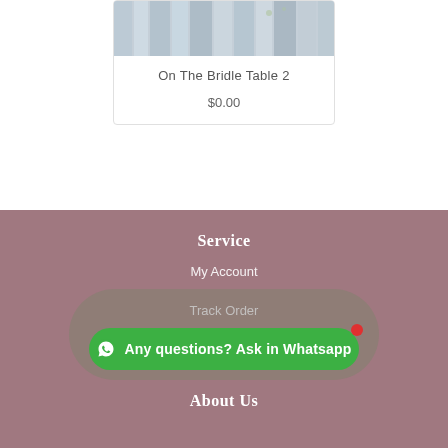[Figure (photo): Product photo showing fabric or floral arrangement, silver/grey tones]
On The Bridle Table 2
$0.00
Service
My Account
Track Order
Any questions? Ask in Whatsapp
About Us